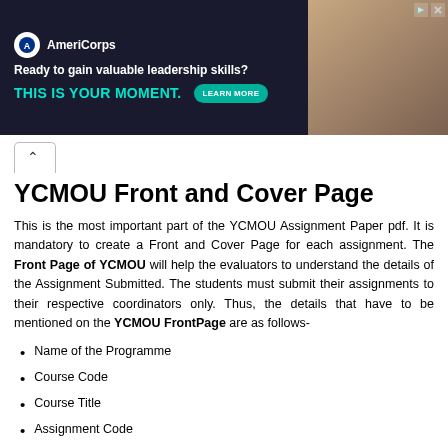[Figure (illustration): AmeriCorps advertisement banner with dark background. Logo with circle icon and 'AmeriCorps' text. Tagline: 'Ready to gain valuable leadership skills?' and 'THIS IS YOUR MOMENT.' with a teal 'LEARN MORE' button. Right side shows people in AmeriCorps gear.]
YCMOU Front and Cover Page
This is the most important part of the YCMOU Assignment Paper pdf. It is mandatory to create a Front and Cover Page for each assignment. The Front Page of YCMOU will help the evaluators to understand the details of the Assignment Submitted. The students must submit their assignments to their respective coordinators only. Thus, the details that have to be mentioned on the YCMOU FrontPage are as follows-
Name of the Programme
Course Code
Course Title
Assignment Code
Study Center
Session Month and Year